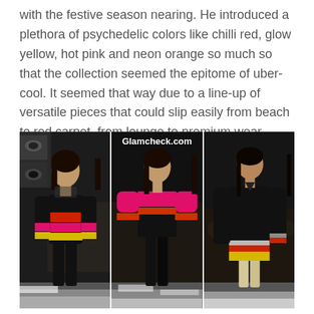with the festive season nearing. He introduced a plethora of psychedelic colors like chilli red, glow yellow, hot pink and neon orange so much so that the collection seemed the epitome of uber-cool. It seemed that way due to a line-up of versatile pieces that could slip easily from beach to red carpet, from lounge to premium wear.
[Figure (photo): Three female models on a runway wearing colorful striped outfits with pink, red, yellow/orange bands against black garments. Watermark 'Glamcheck.com' visible at top center.]